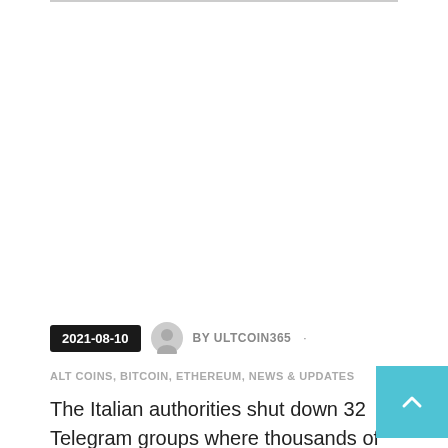2021-08-10  BY ULTCOIN365 ·
ALT COINS, BITCOIN, ETHEREUM, NEWS & UPDATES
The Italian authorities shut down 32 Telegram groups where thousands of people were offered fake COVID-19 passes. For the illegal service, the criminals preferred cryptocurrency payments.